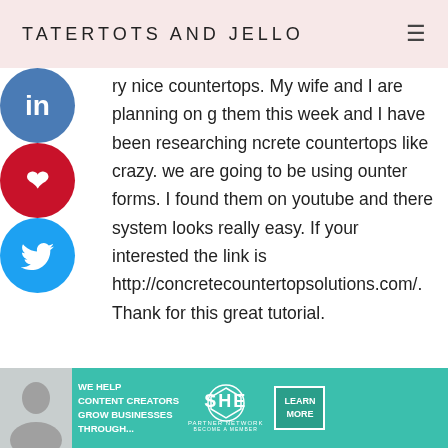TATERTOTS AND JELLO
[Figure (infographic): Three social sharing circular buttons stacked vertically: LinkedIn (blue), Pinterest (red), Twitter (blue)]
ry nice countertops. My wife and I are planning on g them this week and I have been researching ncrete countertops like crazy. we are going to be using ounter forms. I found them on youtube and there system looks really easy. If your interested the link is http://concretecountertopsolutions.com/. Thank for this great tutorial.
DEDE says
May 4, 2012 at 8:53 AM
[Figure (photo): SHE Partner Network advertisement banner with a woman using a laptop, text: WE HELP CONTENT CREATORS GROW BUSINESSES THROUGH... with LEARN MORE button]